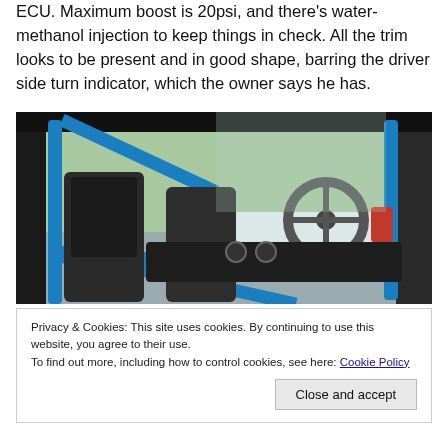ECU. Maximum boost is 20psi, and there's water-methanol injection to keep things in check. All the trim looks to be present and in good shape, barring the driver side turn indicator, which the owner says he has.
[Figure (photo): Interior photo of a modified car with a blue roll cage/roll bar, black bucket seats, and a steering wheel visible. Taken from outside the car looking through the open door.]
Privacy & Cookies: This site uses cookies. By continuing to use this website, you agree to their use.
To find out more, including how to control cookies, see here: Cookie Policy